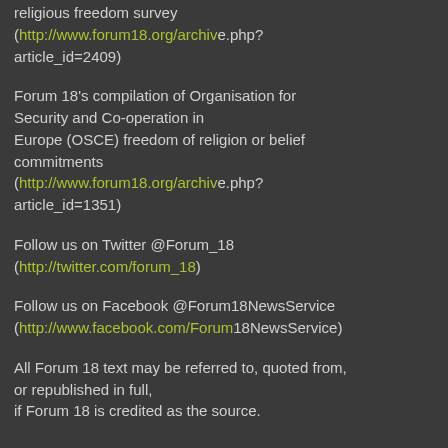religious freedom survey (http://www.forum18.org/archive.php?article_id=2409)
Forum 18's compilation of Organisation for Security and Co-operation in Europe (OSCE) freedom of religion or belief commitments (http://www.forum18.org/archive.php?article_id=1351)
Follow us on Twitter @Forum_18 (http://twitter.com/forum_18)
Follow us on Facebook @Forum18NewsService (http://www.facebook.com/Forum18NewsService)
All Forum 18 text may be referred to, quoted from, or republished in full, if Forum 18 is credited as the source.